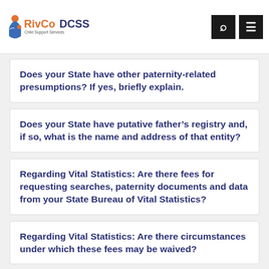RivCoDCSS Child Support Services
Does your State have other paternity-related presumptions? If yes, briefly explain.
Does your State have putative father's registry and, if so, what is the name and address of that entity?
Regarding Vital Statistics: Are there fees for requesting searches, paternity documents and data from your State Bureau of Vital Statistics?
Regarding Vital Statistics: Are there circumstances under which these fees may be waived?